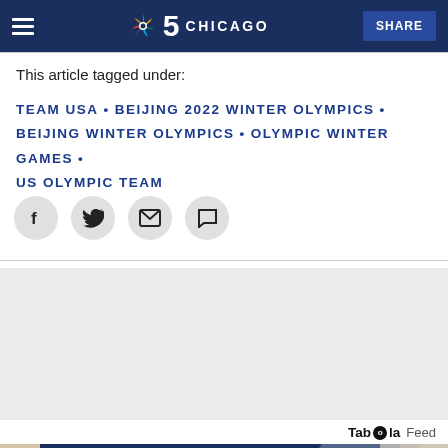NBC 5 Chicago — SHARE
This article tagged under:
TEAM USA • BEIJING 2022 WINTER OLYMPICS • BEIJING WINTER OLYMPICS • OLYMPIC WINTER GAMES • US OLYMPIC TEAM
[Figure (other): Social sharing icon buttons: Facebook, Twitter, Email, Comment]
[Figure (other): Advertisement placeholder (gray area)]
Taboola Feed
[Figure (photo): Photo of a hand holding a US passport with Statue of Liberty engraving visible, partial text 'PA' visible on passport cover]